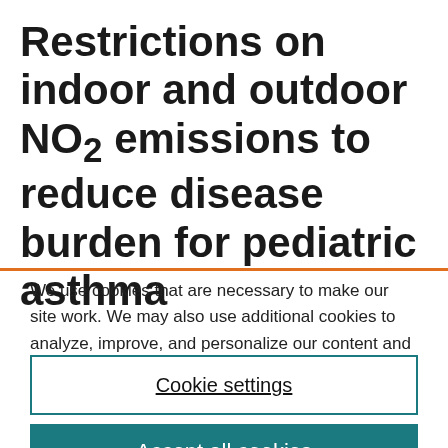Restrictions on indoor and outdoor NO2 emissions to reduce disease burden for pediatric asthma
We use cookies that are necessary to make our site work. We may also use additional cookies to analyze, improve, and personalize our content and your digital experience. For more information, see our Cookie Policy.
Cookie settings
Accept all cookies